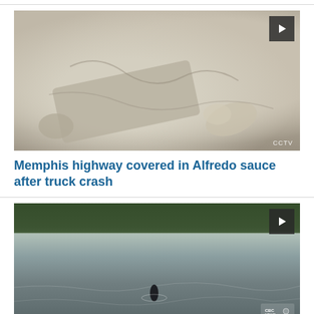[Figure (photo): Mud-covered debris or dough-like objects on a grey surface, likely Alfredo sauce spilled on highway after truck crash. Play button visible in top-right corner. CCTV watermark visible.]
Memphis highway covered in Alfredo sauce after truck crash
[Figure (photo): Aerial view of a river or inlet with forested banks, showing what appears to be an orca or marine animal visible in the water. CBC News watermark and video duration badge visible. Play button in top-right corner.]
WATCH: Pod of Orcas swim metres